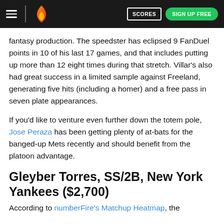numberFire navigation bar with hamburger menu, logo, SCORES button, SIGN UP FREE button
fantasy production. The speedster has eclipsed 9 FanDuel points in 10 of his last 17 games, and that includes putting up more than 12 eight times during that stretch. Villar's also had great success in a limited sample against Freeland, generating five hits (including a homer) and a free pass in seven plate appearances.
If you'd like to venture even further down the totem pole, Jose Peraza has been getting plenty of at-bats for the banged-up Mets recently and should benefit from the platoon advantage.
Gleyber Torres, SS/2B, New York Yankees ($2,700)
According to numberFire's Matchup Heatmap, the